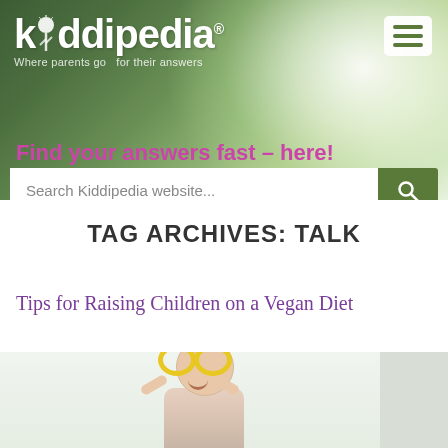[Figure (screenshot): Kiddipedia website header banner with dandelion background, logo, tagline, and hamburger menu]
kiddipedia — Where parents go for their answers
Find your answers fast – here!
Search Kiddipedia website...
TAG ARCHIVES: TALK
Tips for Raising Children on a Vegan Diet
[Figure (photo): Young girl holding yellow pepper rings up to her eyes like glasses, smiling]